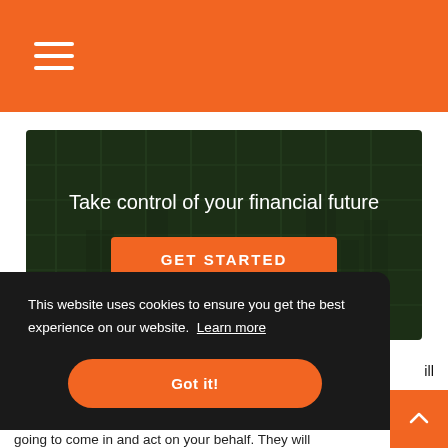Navigation menu (hamburger icon)
[Figure (illustration): Dark green hero banner with faint city/financial skyline background graphic]
Take control of your financial future
GET STARTED
This website uses cookies to ensure you get the best experience on our website. Learn more
Got it!
going to come in and act on your behalf. They will